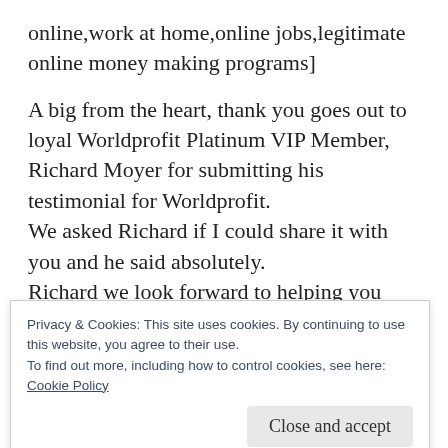online,work at home,online jobs,legitimate online money making programs]
A big from the heart, thank you goes out to loyal Worldprofit Platinum VIP Member, Richard Moyer for submitting his testimonial for Worldprofit.
We asked Richard if I could share it with you and he said absolutely.
Richard we look forward to helping you build your online business. Your enthusiasm for our
Privacy & Cookies: This site uses cookies. By continuing to use this website, you agree to their use.
To find out more, including how to control cookies, see here:
Cookie Policy
Close and accept
I was challenged by someone, "You keep